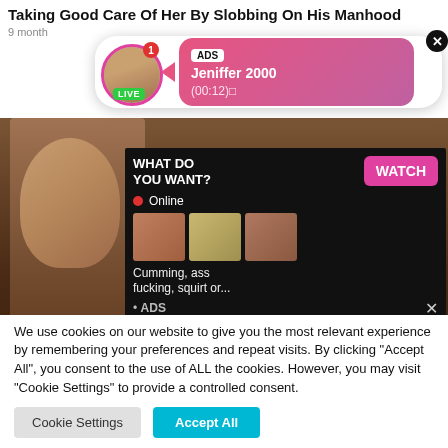Taking Good Care Of Her By Slobbing On His Manhood
9 month
[Figure (screenshot): Live notification popup with avatar, ADS label, name Jeniffer 2000, time (00:12), LIVE badge, close X button]
[Figure (screenshot): Adult content ad overlay with WHAT DO YOU WANT? text, WATCH button, Online indicator, thumbnail images, text 'Cumming, ass fucking, squirt or...', ADS label, close X]
[Figure (photo): Adult content background image]
We use cookies on our website to give you the most relevant experience by remembering your preferences and repeat visits. By clicking "Accept All", you consent to the use of ALL the cookies. However, you may visit "Cookie Settings" to provide a controlled consent.
Cookie Settings | Accept All